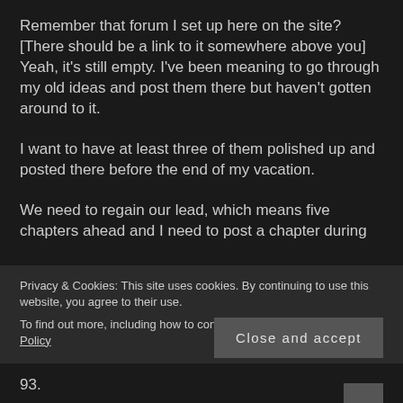Remember that forum I set up here on the site? [There should be a link to it somewhere above you] Yeah, it's still empty. I've been meaning to go through my old ideas and post them there but haven't gotten around to it.
I want to have at least three of them polished up and posted there before the end of my vacation.
We need to regain our lead, which means five chapters ahead and I need to post a chapter during
Privacy & Cookies: This site uses cookies. By continuing to use this website, you agree to their use.
To find out more, including how to control cookies, see here: Cookie Policy
Close and accept
93.